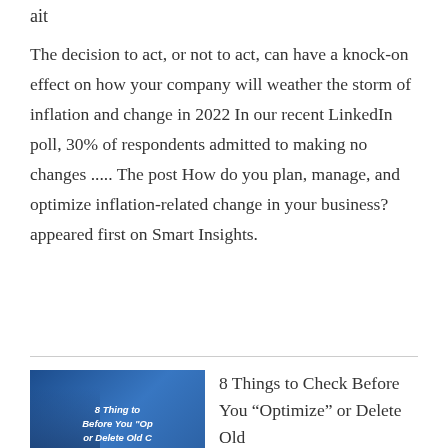ait
The decision to act, or not to act, can have a knock-on effect on how your company will weather the storm of inflation and change in 2022 In our recent LinkedIn poll, 30% of respondents admitted to making no changes ..... The post How do you plan, manage, and optimize inflation-related change in your business? appeared first on Smart Insights.
[Figure (photo): Thumbnail image with dark blue background showing text '8 Thing to Before You "Op or Delete Old C' overlaid on an image of a person, used as article thumbnail]
8 Things to Check Before You “Optimize” or Delete Old